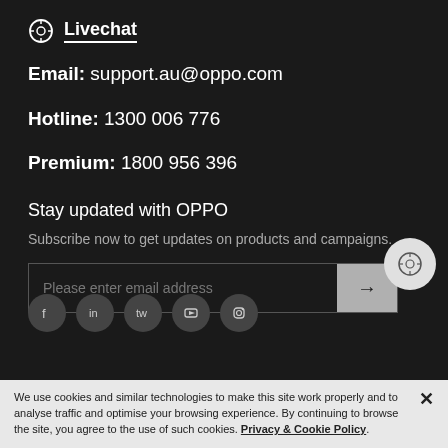Livechat
Email: support.au@oppo.com
Hotline: 1300 006 776
Premium: 1800 956 396
Stay updated with OPPO
Subscribe now to get updates on products and campaigns.
[Figure (other): Email subscription input field with placeholder 'Please enter email address' and an arrow submit button]
[Figure (other): Social media icons: Facebook, LinkedIn, Twitter, YouTube, Instagram]
We use cookies and similar technologies to make this site work properly and to analyse traffic and optimise your browsing experience. By continuing to browse the site, you agree to the use of such cookies. Privacy & Cookie Policy.